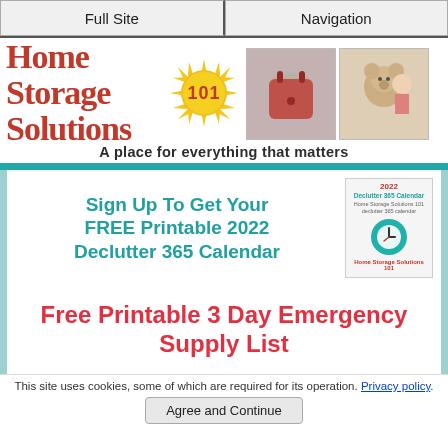Full Site | Navigation
[Figure (logo): Home Storage Solutions 101 logo with red script text and yellow sun graphic, alongside two photos of a red handbag and stuffed toys]
A place for everything that matters
Sign Up To Get Your FREE Printable 2022 Declutter 365 Calendar
Free Printable 3 Day Emergency Supply List
This site uses cookies, some of which are required for its operation. Privacy policy.
Agree and Continue